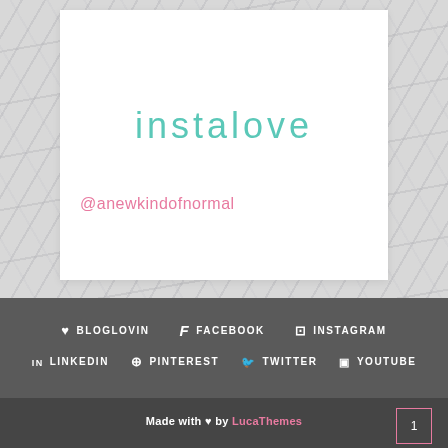instalove
@anewkindofnormal
♥ BLOGLOVIN   f FACEBOOK   ⊡ INSTAGRAM
in LINKEDIN   ⊕ PINTEREST   🐦 TWITTER   ▣ YOUTUBE
Made with ♥ by LucaThemes
1